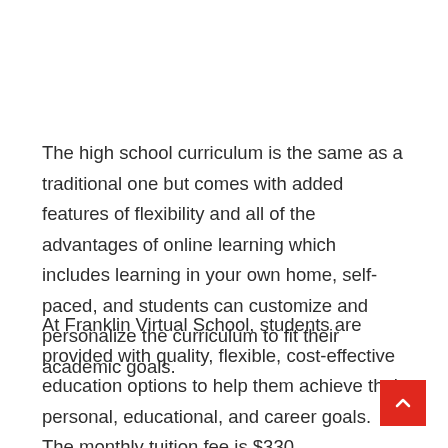The high school curriculum is the same as a traditional one but comes with added features of flexibility and all of the advantages of online learning which includes learning in your own home, self-paced, and students can customize and personalize the curriculum to fit their academic goals.
At Franklin Virtual School, students are provided with quality, flexible, cost-effective education options to help them achieve their personal, educational, and career goals. The monthly tuition fee is $330.